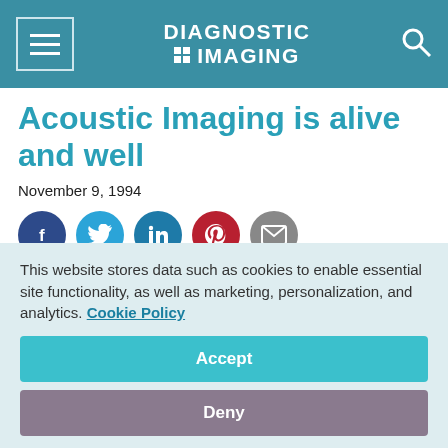DIAGNOSTIC IMAGING
Acoustic Imaging is alive and well
November 9, 1994
[Figure (other): Social sharing icons row: Facebook (dark blue), Twitter (light blue), LinkedIn (blue), Pinterest (red), Email (gray)]
Ultrasound vendor Acoustic Imaginais still open for business.
This website stores data such as cookies to enable essential site functionality, as well as marketing, personalization, and analytics. Cookie Policy
Accept
Deny